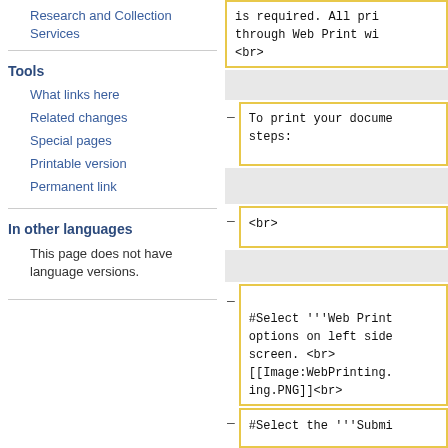Research and Collection Services
Tools
What links here
Related changes
Special pages
Printable version
Permanent link
In other languages
This page does not have language versions.
is required. All pri... through Web Print wi... <br>
To print your docume... steps:
<br>
#Select '''Web Print options on left side screen. <br> [[Image:WebPrinting... ing.PNG]]<br>
#Select the '''Submi...
#Select the printer...